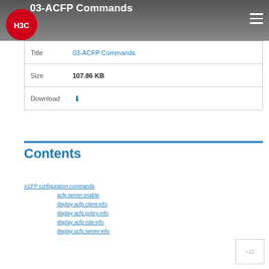03-ACFP Commands
| Field | Value |
| --- | --- |
| Title | 03-ACFP Commands |
| Size | 107.86 KB |
| Download |  |
Contents
ACFP configuration commands
acfp server enable
display acfp client-info
display acfp policy-info
display acfp rule-info
display acfp server-info